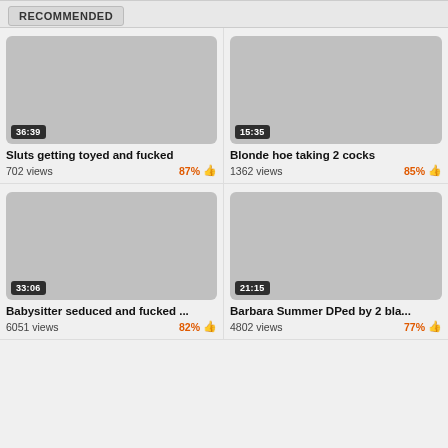RECOMMENDED
[Figure (screenshot): Video thumbnail placeholder, gray, duration 36:39]
Sluts getting toyed and fucked
702 views   87% 👍
[Figure (screenshot): Video thumbnail placeholder, gray, duration 15:35]
Blonde hoe taking 2 cocks
1362 views   85% 👍
[Figure (screenshot): Video thumbnail placeholder, gray, duration 33:06]
Babysitter seduced and fucked ...
6051 views   82% 👍
[Figure (screenshot): Video thumbnail placeholder, gray, duration 21:15]
Barbara Summer DPed by 2 bla...
4802 views   77% 👍